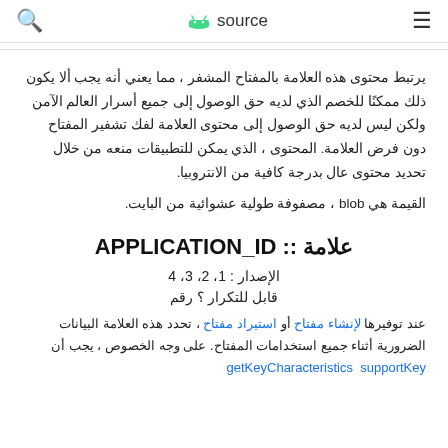🔍  source  ☰
يرتبط محتوى هذه العلامة بالمفتاح المشفر ، مما يعني أنه يجب ألا يكون ذلك ممكنًا للخصم الذي لديه حق الوصول إلى جميع أسرار العالم الآمن ولكن ليس لديه حق الوصول إلى محتوى العلامة لفك تشفير المفتاح دون فرض العلامة. المحتوى ، الذي يمكن للتطبيقات منعه من خلال تحديد محتوى عال بدرجة كافية من الانتروبيا.
القيمة هي blob ، مصفوفة طولية عشوائية من البايت.
علامة :: APPLICATION_ID
الإصدار : 1، 2، 3، 4
قابل للتكرار ؟ رقم
عند توفيرها لإنشاء مفتاح أو استيراد مفتاح ، تحدد هذه العلامة البيانات الضرورية أثناء جميع استخدامات المفتاح. على وجه الخصوص ، يجب أن getKeyCharacteristics supportKey